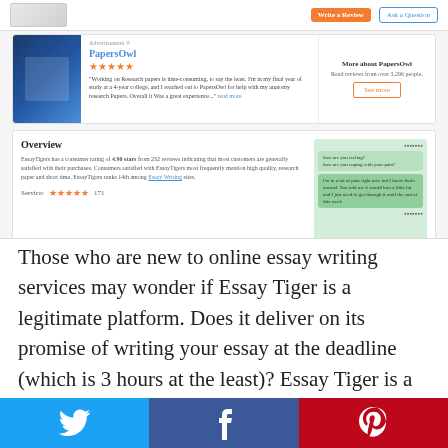[Figure (screenshot): Screenshot of a review website showing a top bar with Write a Review and Ask a Question buttons, a PapersOwl advertisement panel with star ratings and review text, and an Overview section for EssayTigers with star ratings and a green chat interface screenshot]
Those who are new to online essay writing services may wonder if Essay Tiger is a legitimate platform. Does it deliver on its promise of writing your essay at the deadline (which is 3 hours at the least)? Essay Tiger is a proven online writing platform, and it does churn out essays for its clients. However, the price isn't cheap and there are times when its deadline promises aren't met. In terms of quality, most of the work produced is good enough to submit, and a plagiarism
[Figure (screenshot): Social media share bar with Twitter (blue), Facebook (dark blue), and Pinterest (red) icons]